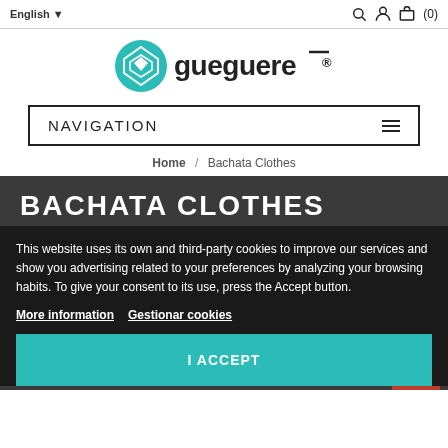English ▼   🔍  👤  🛒 (0)
[Figure (logo): Gueguere brand logo with teal diamond shield icon and wordmark 'gueguere®']
NAVIGATION
Home / Bachata Clothes
BACHATA CLOTHES
This website uses its own and third-party cookies to improve our services and show you advertising related to your preferences by analyzing your browsing habits. To give your consent to its use, press the Accept button.
More information   Gestionar cookies
I ACCEPT
-25%